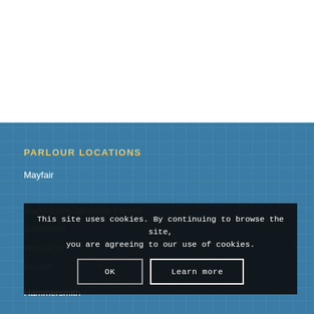PARLOUR LOCATIONS
Mayfair
Marylebone Massage Parlour
Bayswater
West End
Euston
This site uses cookies. By continuing to browse the site, you are agreeing to our use of cookies.
Hammersmith